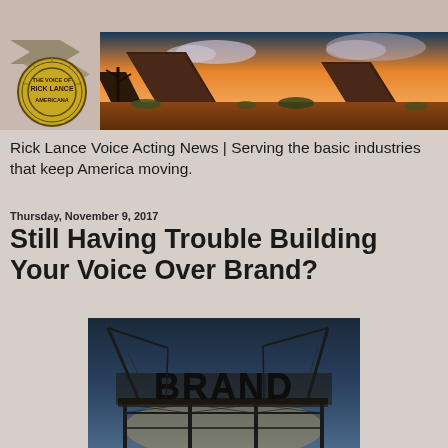[Figure (logo): Rick Lance Americana logo — circular badge with arrows and sunburst design]
[Figure (photo): Desert landscape with Monument Valley buttes at sunset/dusk with dramatic sky]
Rick Lance Voice Acting News | Serving the basic industries that keep America moving.
Thursday, November 9, 2017
Still Having Trouble Building Your Voice Over Brand?
[Figure (photo): Construction cranes building large BRAND letters sign against dusk sky]